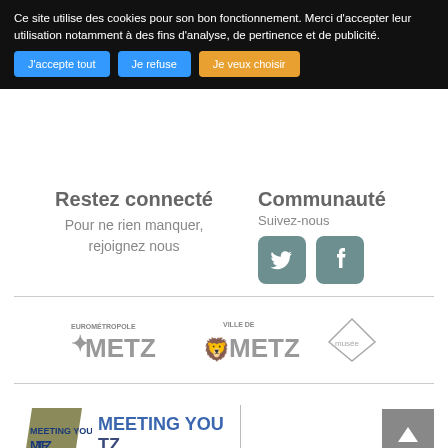Ce site utilise des cookies pour son bon fonctionnement. Merci d'accepter leur utilisation notamment à des fins d'analyse, de pertinence et de publicité.
J'accepte tout | Je refuse | Je veux choisir
Restez connecté
Pour ne rien manquer, rejoignez nous
Communauté
Suivez-nous
[Figure (logo): Twitter and Facebook social media icons in teal square buttons]
[Figure (logo): Eurométropole Metz, Ville de Metz, and a third organization logos]
[Figure (logo): Meeting You Metz logo with olive/gold parallelogram badge and blue text]
Agence Inspire Metz
2 Place d'Armes CS 80367,
57000 Metz Cedex 1
Tel. +33 (0)3 87 39 00 00